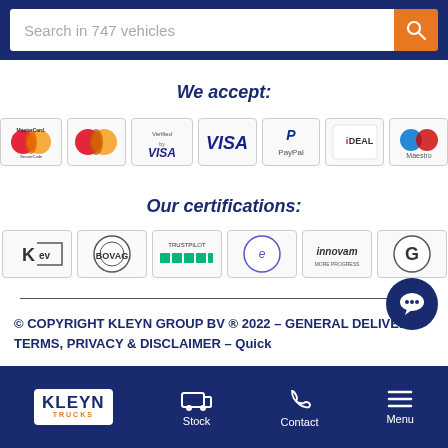Search in 747 vehicles
We accept:
[Figure (infographic): Payment method logos: MasterCard SecureCode, Mastercard, Verified by Visa, VISA, PayPal, iDEAL, Maestro]
Our certifications:
[Figure (infographic): Certification logos: KEV, Bovag, Trustpilot 5-stars, e-commerce logo, Innovam, G-certification]
© COPYRIGHT KLEYN GROUP BV ® 2022 - GENERAL DELIVERY TERMS, PRIVACY & DISCLAIMER - Quick
Kleyn Trucks | Stock | Contact | Menu